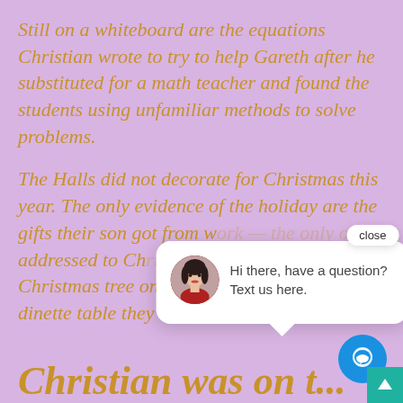Still on a whiteboard are the equations Christian wrote to try to help Gareth after he substituted for a math teacher and found the students using unfamiliar methods to solve problems.
The Halls did not decorate for Christmas this year. The only evidence of the holiday are the gifts their son got from work — the only one addressed to Christian was a card with a Christmas tree on it — sitting on the round dinette table they haven't used since his death.
[Figure (screenshot): Chat popup widget with close button, avatar of a woman in red, and text 'Hi there, have a question? Text us here.' plus a blue circular chat button and teal up-arrow button.]
Christian was on t...